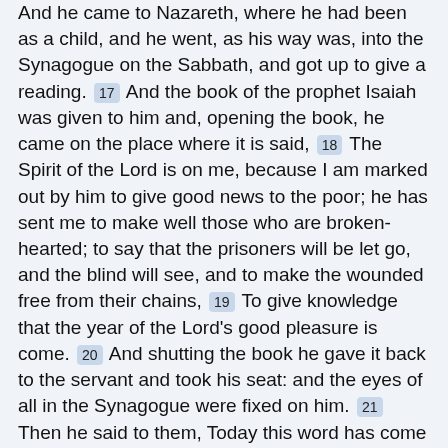And he came to Nazareth, where he had been as a child, and he went, as his way was, into the Synagogue on the Sabbath, and got up to give a reading. [17] And the book of the prophet Isaiah was given to him and, opening the book, he came on the place where it is said, [18] The Spirit of the Lord is on me, because I am marked out by him to give good news to the poor; he has sent me to make well those who are broken-hearted; to say that the prisoners will be let go, and the blind will see, and to make the wounded free from their chains, [19] To give knowledge that the year of the Lord's good pleasure is come. [20] And shutting the book he gave it back to the servant and took his seat: and the eyes of all in the Synagogue were fixed on him. [21] Then he said to them, Today this word has come true in your hearing. [22] And they were all giving witness, with wonder, to the words of grace which came from his mouth: and they said, Is not this the son of Joseph? [23] And he said to them, Without doubt you will say to me, Let the medical man make himself well: the things which to our knowledge were done at Capernaum, do them here in your country. [24] And